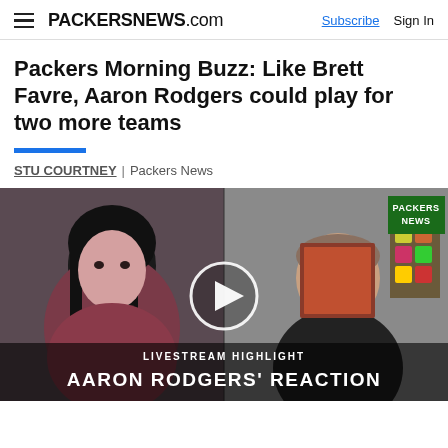PACKERSNEWS.com  Subscribe  Sign In
Packers Morning Buzz: Like Brett Favre, Aaron Rodgers could play for two more teams
STU COURTNEY | Packers News
[Figure (screenshot): Video thumbnail showing two people (a woman with dark hair on the left, a man on the right) in a split-screen livestream format. A play button circle is centered. Text overlay at bottom reads 'LIVESTREAM HIGHLIGHT' and 'AARON RODGERS' REACTION'. A green Packers News badge appears in the upper right corner.]